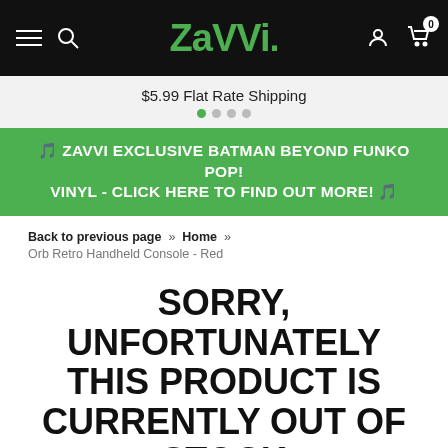Zavvi. — navigation bar with hamburger menu, search, logo, account and cart icons
$5.99 Flat Rate Shipping
🎵 ZAVVI EXCLUSIVE BATMAN BEYOND FUNKO POP! VINYL - CLICK HERE TO FIND OUT MORE! 🎵
Back to previous page » Home » Orb Retro Handheld Console - Red
SORRY, UNFORTUNATELY THIS PRODUCT IS CURRENTLY OUT OF STOCK
OTHER CUSTOMERS PURCHASED INSTEAD